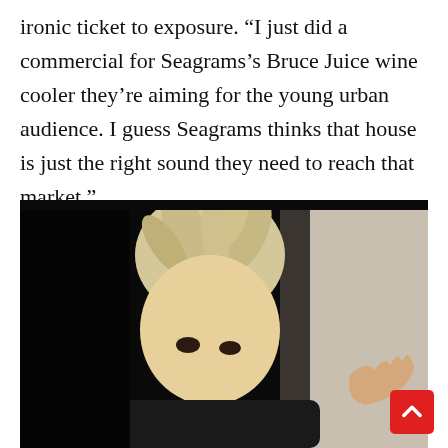ironic ticket to exposure. “I just did a commercial for Seagrams’s Bruce Juice wine cooler they’re aiming for the young urban audience. I guess Seagrams thinks that house is just the right sound they need to reach that market.”
[Figure (photo): Black and white photo of a person with wild, spiky blonde hair styled upward, looking intensely at the camera with one hand raised, standing near what appears to be a doorframe or window.]